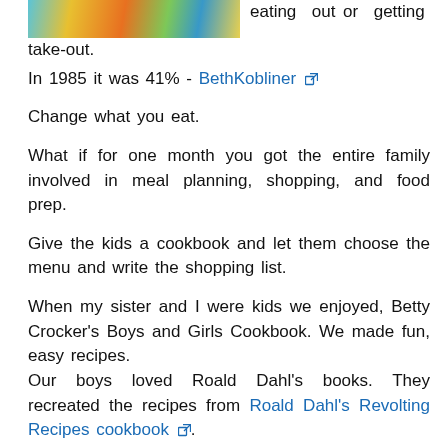[Figure (illustration): Colorful illustrated image showing figures, partially cropped at top, with yellow, blue, orange and green tones]
eating out or getting take-out.
In 1985 it was 41% - BethKobliner [external link]
Change what you eat.
What if for one month you got the entire family involved in meal planning, shopping, and food prep.
Give the kids a cookbook and let them choose the menu and write the shopping list.
When my sister and I were kids we enjoyed, Betty Crocker's Boys and Girls Cookbook. We made fun, easy recipes.
Our boys loved Roald Dahl's books. They recreated the recipes from Roald Dahl's Revolting Recipes cookbook [external link].
Your family will share delicious meals and quality time